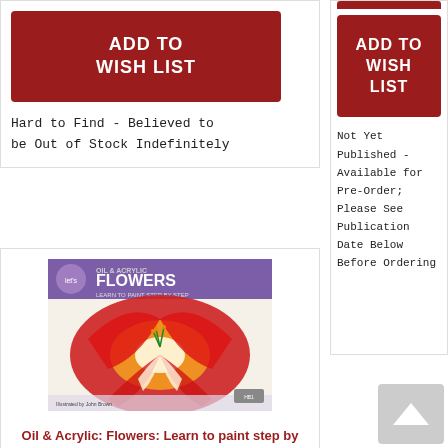[Figure (other): Red 'ADD TO WISH LIST' button in left card top area]
Hard to Find - Believed to be Out of Stock Indefinitely
[Figure (other): Red 'ADD TO WISH LIST' button in right card]
Not Yet Published - Available for Pre-Order; Please See Publication Date Below Before Ordering
[Figure (illustration): Book cover of Oil & Acrylic: Flowers - showing a vibrant red and orange flower painting with purple header band]
Oil & Acrylic: Flowers: Learn to paint step by step (How to Draw & Paint) (Paperback)